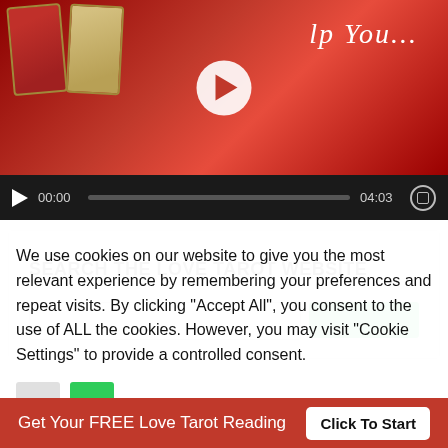[Figure (screenshot): Video player thumbnail showing tarot cards and red background with italic text 'lp You...' and YouTube-style play button, with video controls bar showing 00:00 / 04:03]
SEARCH THE LOVE TAROT WEBSITE
We use cookies on our website to give you the most relevant experience by remembering your preferences and repeat visits. By clicking "Accept All", you consent to the use of ALL the cookies. However, you may visit "Cookie Settings" to provide a controlled consent.
Get Your FREE Love Tarot Reading  Click To Start